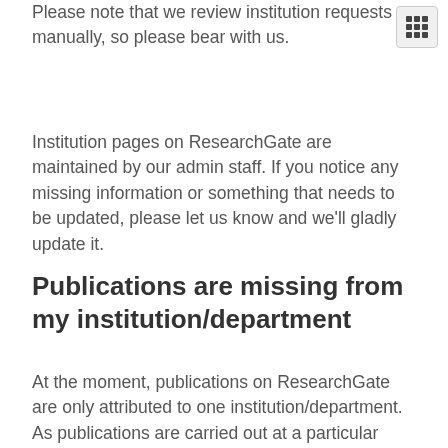Please note that we review institution requests manually, so please bear with us.
Institution pages on ResearchGate are maintained by our admin staff. If you notice any missing information or something that needs to be updated, please let us know and we'll gladly update it.
Publications are missing from my institution/department
At the moment, publications on ResearchGate are only attributed to one institution/department. As publications are carried out at a particular institution/department, they are only included in